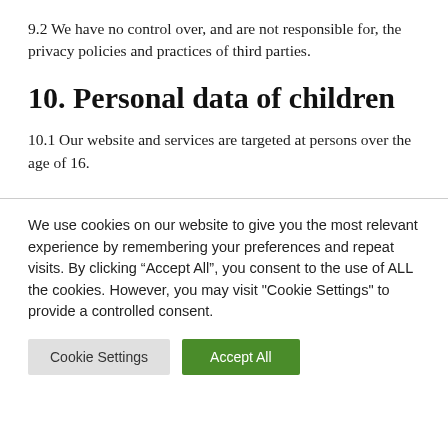9.2 We have no control over, and are not responsible for, the privacy policies and practices of third parties.
10. Personal data of children
10.1 Our website and services are targeted at persons over the age of 16.
We use cookies on our website to give you the most relevant experience by remembering your preferences and repeat visits. By clicking “Accept All”, you consent to the use of ALL the cookies. However, you may visit "Cookie Settings" to provide a controlled consent.